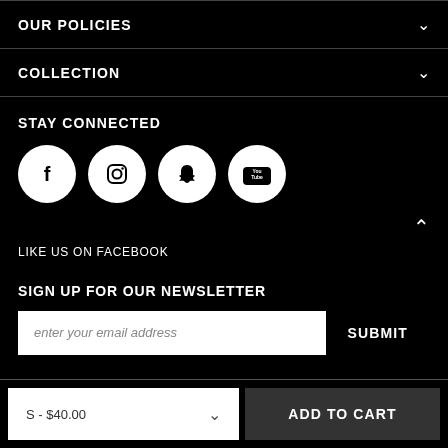OUR POLICIES
COLLECTION
STAY CONNECTED
[Figure (other): Social media icons: Facebook, Instagram, Snapchat, YouTube]
LIKE US ON FACEBOOK
SIGN UP FOR OUR NEWSLETTER
enter your email address
SUBMIT
S - $40.00
ADD TO CART